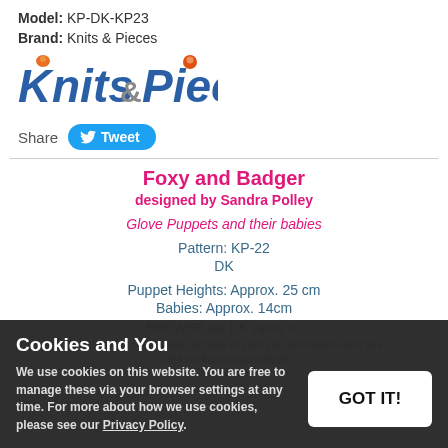Model: KP-DK-KP23
Brand: Knits & Pieces
[Figure (logo): Knits & Pieces colorful stylized logo with animal characters]
Share  Tweet
Foxy and Badger
designed by Sandra Polley
Glove Puppets and their babies
Pattern: KP-22
DK
Puppet Heights: Approx. 25 cm
Babies: Approx. 14cm
BROWSE our DK yarns >>
To determine the number of balls of yarn you will need to knit this
Click on final image above
Click "Zoom"
Cookies and You
We use cookies on this website. You are free to manage these via your browser settings at any time. For more about how we use cookies, please see our Privacy Policy.
GOT IT!